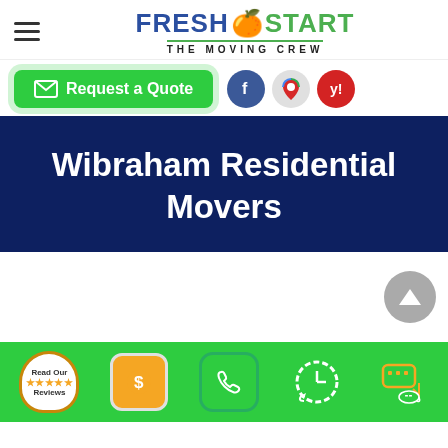[Figure (logo): Fresh Start The Moving Crew logo with peach icon, green and blue text]
[Figure (screenshot): Request a Quote green button with envelope icon, plus Facebook, Google Maps, and Yelp social icons]
Wibraham Residential Movers
[Figure (screenshot): Gray scroll-to-top arrow button on white background]
[Figure (infographic): Green bottom navigation bar with Read Our Reviews badge, dollar sign, phone, clock, and chat icons]